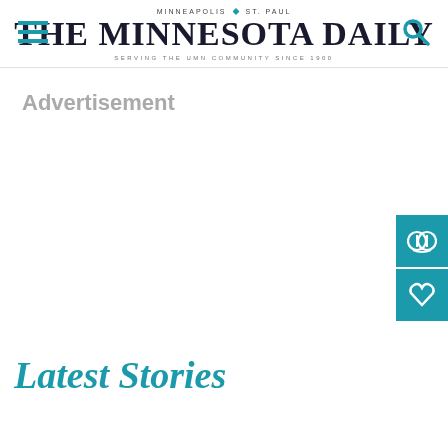MINNEAPOLIS | ST. PAUL — THE MINNESOTA DAILY — SERVING THE UMN COMMUNITY SINCE 1900
Advertisement
Latest Stories